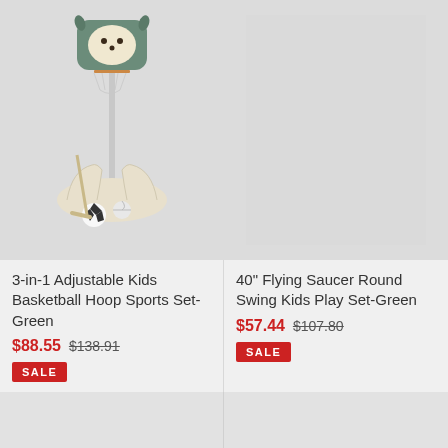[Figure (photo): 3-in-1 adjustable kids basketball hoop sports set in green/beige color with soccer ball and hockey stick accessories at base]
3-in-1 Adjustable Kids Basketball Hoop Sports Set-Green
$88.55  $138.91
SALE
40" Flying Saucer Round Swing Kids Play Set-Green
$57.44  $107.80
SALE